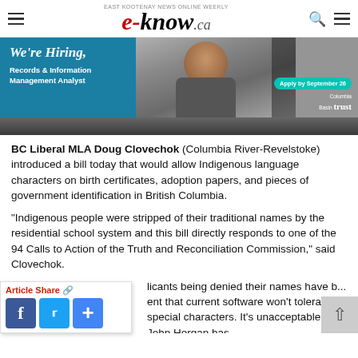e-know.ca — EAST KOOTENAY NEWS ONLINE WEEKLY
[Figure (infographic): Banner advertisement: 'We're Hiring — Records & Information Management Analyst' with photo of smiling man in glasses. Apply by September 26. Columbia Basin Trust logo.]
BC Liberal MLA Doug Clovechok (Columbia River-Revelstoke) introduced a bill today that would allow Indigenous language characters on birth certificates, adoption papers, and pieces of government identification in British Columbia.
"Indigenous people were stripped of their traditional names by the residential school system and this bill directly responds to one of the 94 Calls to Action of the Truth and Reconciliation Commission," said Clovechok.
...licants being denied their names have b...ent that current software won't tolerat... special characters. It's unacceptable that John Horgan has ...illion dollars for government programs in...